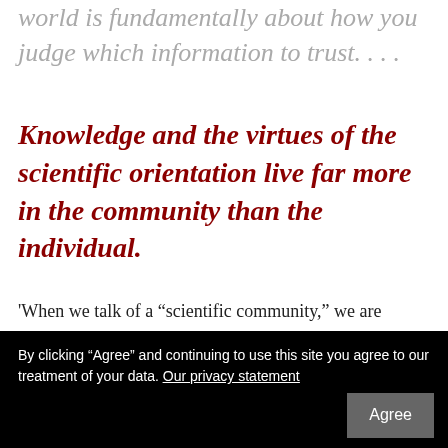world is fundamentally about how you judge which information to trust. . . .
Knowledge and the virtues of the scientific orientation live far more in the community than the individual.
'When we talk of a “scientific community,” we are pointing to something critical: that advanced science is a social enterprise, characterized by an intricate division of
their fallibility. (Hence Max Planck’s observation that
By clicking “Agree” and continuing to use this site you agree to our treatment of your data. Our privacy statement
Agree